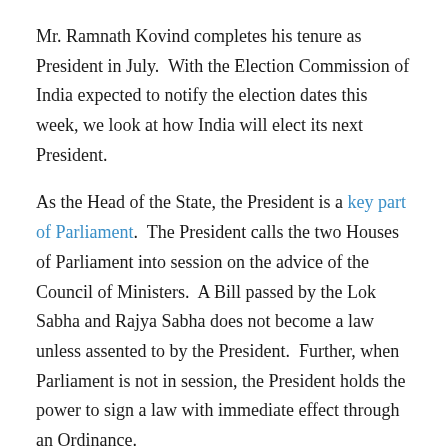Mr. Ramnath Kovind completes his tenure as President in July.  With the Election Commission of India expected to notify the election dates this week, we look at how India will elect its next President.
As the Head of the State, the President is a key part of Parliament.  The President calls the two Houses of Parliament into session on the advice of the Council of Ministers.  A Bill passed by the Lok Sabha and Rajya Sabha does not become a law unless assented to by the President.  Further, when Parliament is not in session, the President holds the power to sign a law with immediate effect through an Ordinance.
Who elects the President?
The manner of election of the President is provided in Article 55 of the Constitution.  Members of Parliament